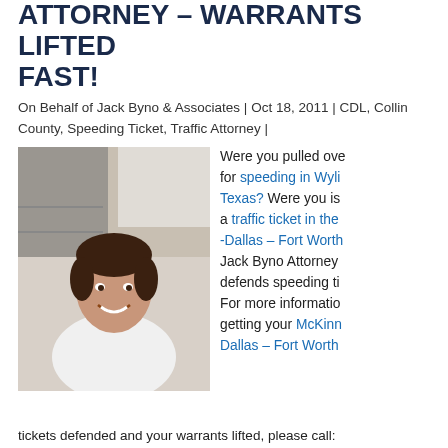ATTORNEY – WARRANTS LIFTED FAST!
On Behalf of Jack Byno & Associates | Oct 18, 2011 | CDL, Collin County, Speeding Ticket, Traffic Attorney |
[Figure (photo): Photo of a smiling man with dark hair wearing a white shirt, standing indoors near stairs]
Were you pulled over for speeding in Wylie, Texas? Were you issued a traffic ticket in the -Dallas – Fort Worth Jack Byno Attorney defends speeding ti... For more information getting your McKinn... Dallas – Fort Worth tickets defended and your warrants lifted, please call...